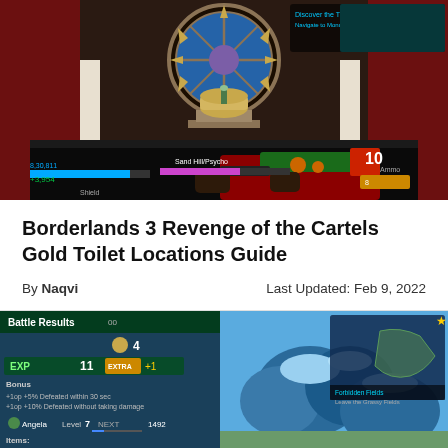[Figure (screenshot): Borderlands 3 gameplay screenshot showing a room with ornate circular stained-glass window, gold toilet on a pedestal, player holding a red/green weapon, HUD elements showing health bar, ammo count '10', score '+3,954', and quest text 'Discover the Trial of Skillshot / Navigate to Monument Terrace']
Borderlands 3 Revenge of the Cartels Gold Toilet Locations Guide
By Naqvi     Last Updated: Feb 9, 2022
[Figure (screenshot): JRPG battle results screen showing: Battle Results header, EXP 11 with EXTRA +1, Bonus: +top +5% Defeated within 30 sec, +top +10% Defeated without taking damage, Angela Level 7 NEXT 1492, Items: Select Item: Seed x1. Right side shows a fantasy landscape with blue trees/rocks and a map overlay showing Forbidden Fields / Leave the Grassy Fields.]